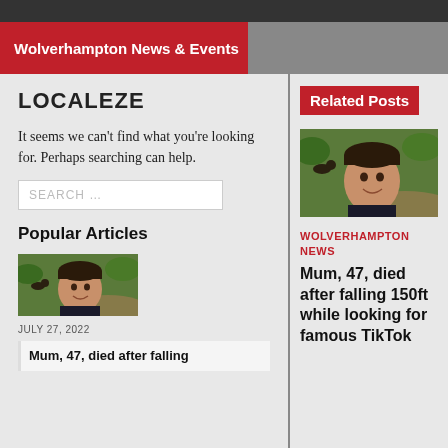Wolverhampton News & Events
LOCALEZE
It seems we can’t find what you’re looking for. Perhaps searching can help.
Popular Articles
[Figure (photo): Woman smiling with short dark hair, dog visible in background on a path]
JULY 27, 2022
Mum, 47, died after falling
Related Posts
[Figure (photo): Woman smiling with short dark hair, dog visible in background on a path]
WOLVERHAMPTON NEWS
Mum, 47, died after falling 150ft while looking for famous TikTok